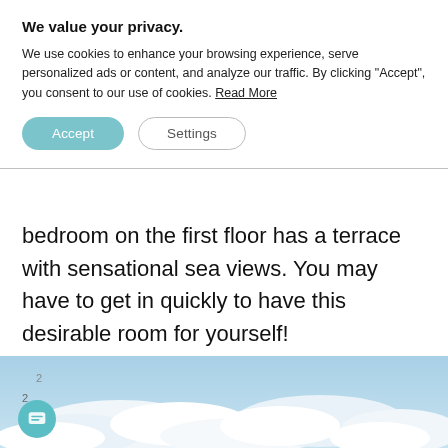We value your privacy.
We use cookies to enhance your browsing experience, serve personalized ads or content, and analyze our traffic. By clicking "Accept", you consent to our use of cookies. Read More
bedroom on the first floor has a terrace with sensational sea views. You may have to get in quickly to have this desirable room for yourself!
[Figure (photo): Blue sky with white clouds, partially visible image at bottom of page with a small chat icon badge in the lower left corner]